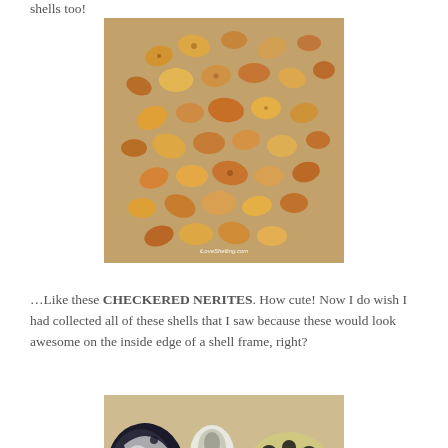shells too!
[Figure (photo): A collection of small tan and brown checkered nerite shells scattered on a sandy surface. Watermark reads iLoveShelling.com]
…Like these CHECKERED NERITES. How cute! Now I do wish I had collected all of these shells that I saw because these would look awesome on the inside edge of a shell frame, right?
[Figure (photo): Close-up of larger black and white patterned nerite shells on a sandy surface]